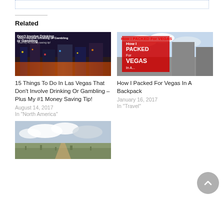[Figure (other): Dotted border rectangular box at top of page (comment/input box outline)]
Related
[Figure (photo): Night cityscape of Las Vegas Strip with bright lights and text overlay saying Don't Involve Drinking or Gambling]
15 Things To Do In Las Vegas That Don't Involve Drinking Or Gambling – Plus My #1 Money Saving Tip!
August 14, 2017
In "North America"
[Figure (photo): Graphic image with red text overlay saying How I Packed For Vegas with Las Vegas skyline in background]
How I Packed For Vegas In A Backpack
January 16, 2017
In "Travel"
[Figure (photo): Desert landscape with dirt road, scrubby vegetation, and cloudy sky]